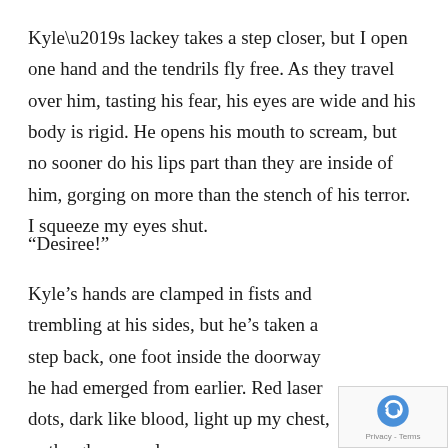Kyle’s lackey takes a step closer, but I open one hand and the tendrils fly free. As they travel over him, tasting his fear, his eyes are wide and his body is rigid. He opens his mouth to scream, but no sooner do his lips part than they are inside of him, gorging on more than the stench of his terror. I squeeze my eyes shut.
“Desiree!”
Kyle’s hands are clamped in fists and trembling at his sides, but he’s taken a step back, one foot inside the doorway he had emerged from earlier. Red laser dots, dark like blood, light up my chest, as the glow envelopes me.
[Figure (other): reCAPTCHA badge with logo and Privacy - Terms link]